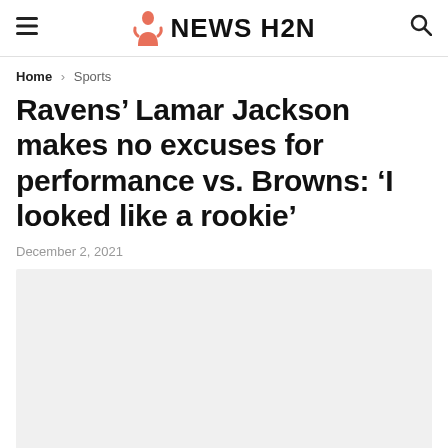NEWS H2N
Home > Sports
Ravens’ Lamar Jackson makes no excuses for performance vs. Browns: ‘I looked like a rookie’
December 2, 2021
[Figure (photo): Article image placeholder (light grey box)]